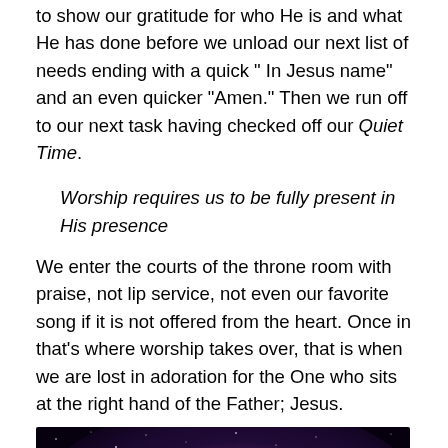to show our gratitude for who He is and what He has done before we unload our next list of needs ending with a quick " In Jesus name" and an even quicker "Amen." Then we run off to our next task having checked off our Quiet Time.
Worship requires us to be fully present in His presence
We enter the courts of the throne room with praise, not lip service, not even our favorite song if it is not offered from the heart. Once in that's where worship takes over, that is when we are lost in adoration for the One who sits at the right hand of the Father; Jesus.
[Figure (illustration): Dark starry night sky background with purple/pink nebula glow in the center, white serif text reading 'worship requires us to be' (bottom cut off)]